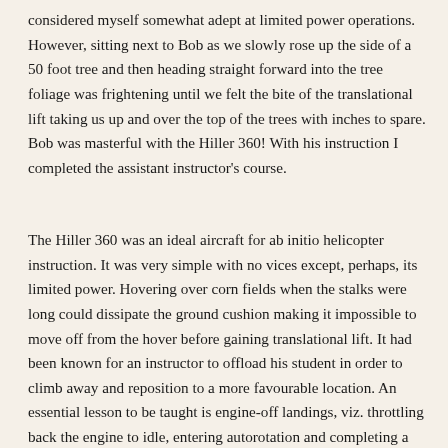considered myself somewhat adept at limited power operations. However, sitting next to Bob as we slowly rose up the side of a 50 foot tree and then heading straight forward into the tree foliage was frightening until we felt the bite of the translational lift taking us up and over the top of the trees with inches to spare. Bob was masterful with the Hiller 360! With his instruction I completed the assistant instructor's course.
The Hiller 360 was an ideal aircraft for ab initio helicopter instruction. It was very simple with no vices except, perhaps, its limited power. Hovering over corn fields when the stalks were long could dissipate the ground cushion making it impossible to move off from the hover before gaining translational lift. It had been known for an instructor to offload his student in order to climb away and reposition to a more favourable location. An essential lesson to be taught is engine-off landings, viz. throttling back the engine to idle, entering autorotation and completing a safe landing without